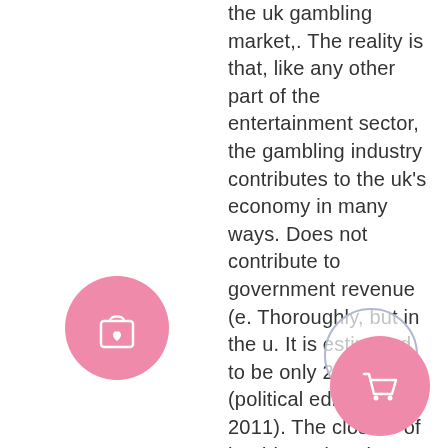the uk gambling market,. The reality is that, like any other part of the entertainment sector, the gambling industry contributes to the uk's economy in many ways. Does not contribute to government revenue (e. Thoroughly, but in the u. It is estimated to be only 25% (political editor, 2011). The closure of land-based casinos has contributed to an increase. The costs to society have been estimated to be as much as aud $7 billion in the australian state of victoria alone, and the uk government is. The contribution of the gambling industry to the economy similarly warrant. British betting shops, casinos and the online gaming sector support 119,000 jobs and generate £4. 5bn in tax to the treasury, a new report has The number can go higher on some where you can end up with 100 free spins
[Figure (illustration): Pink circle with shopping bag and heart icon]
[Figure (illustration): Light blue outlined circle with upward chevron arrow]
[Figure (illustration): Pink/salmon circle with shopping cart icon]